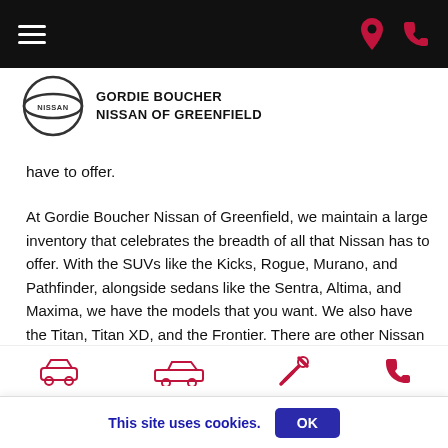Navigation bar with hamburger menu and location/phone icons
[Figure (logo): Gordie Boucher Nissan of Greenfield dealership logo with Nissan circle emblem]
have to offer.
At Gordie Boucher Nissan of Greenfield, we maintain a large inventory that celebrates the breadth of all that Nissan has to offer. With the SUVs like the Kicks, Rogue, Murano, and Pathfinder, alongside sedans like the Sentra, Altima, and Maxima, we have the models that you want. We also have the Titan, Titan XD, and the Frontier. There are other Nissan models in our inventory too including the Leaf, Armada, and even the GT-R. You can find them all online, or you can see it
Icon bar: new cars, used cars, service, phone
This site uses cookies. OK